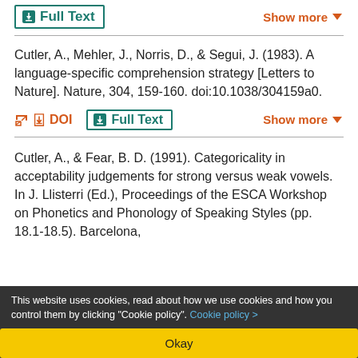Full Text
Show more
Cutler, A., Mehler, J., Norris, D., & Segui, J. (1983). A language-specific comprehension strategy [Letters to Nature]. Nature, 304, 159-160. doi:10.1038/304159a0.
DOI   Full Text
Show more
Cutler, A., & Fear, B. D. (1991). Categoricality in acceptability judgements for strong versus weak vowels. In J. Llisterri (Ed.), Proceedings of the ESCA Workshop on Phonetics and Phonology of Speaking Styles (pp. 18.1-18.5). Barcelona,
This website uses cookies, read about how we use cookies and how you control them by clicking "Cookie policy". Cookie policy >
Okay